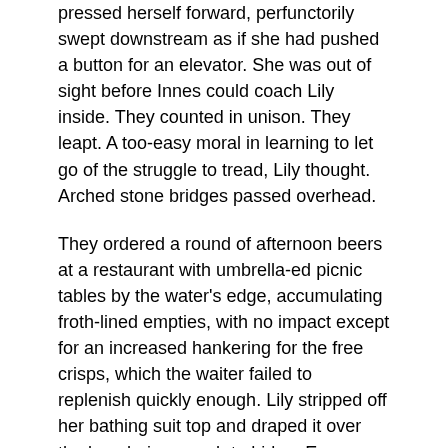pressed herself forward, perfunctorily swept downstream as if she had pushed a button for an elevator. She was out of sight before Innes could coach Lily inside. They counted in unison. They leapt. A too-easy moral in learning to let go of the struggle to tread, Lily thought. Arched stone bridges passed overhead.
They ordered a round of afternoon beers at a restaurant with umbrella-ed picnic tables by the water's edge, accumulating froth-lined empties, with no impact except for an increased hankering for the free crisps, which the waiter failed to replenish quickly enough. Lily stripped off her bathing suit top and draped it over the bench, in no rush to hide a Europe-approved public encounter with her tits. Amal lit a cigarette on the question of participatory art. It went like this:
A few years ago, she would go by the day-laborer center attached to the construction goods warehouse in West